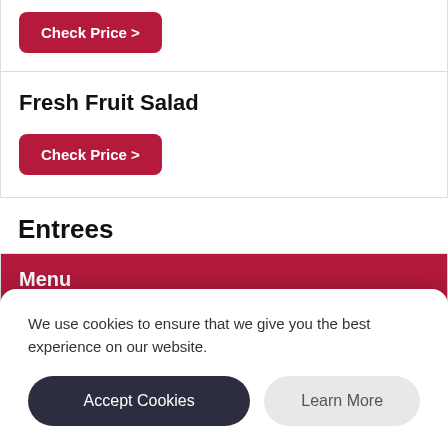Check Price >
Fresh Fruit Salad
Check Price >
Entrees
| Menu |
| --- |
| Steak |
We use cookies to ensure that we give you the best experience on our website.
Accept Cookies
Learn More